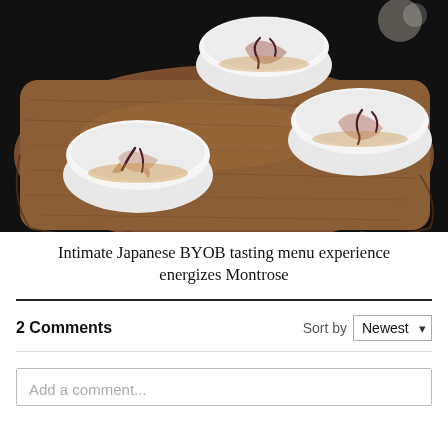[Figure (photo): Three white ceramic bowls containing octopus pieces with dark sauce, arranged on a rustic wooden cutting board against a dark background]
Intimate Japanese BYOB tasting menu experience energizes Montrose
2 Comments
Sort by Newest
Add a comment...